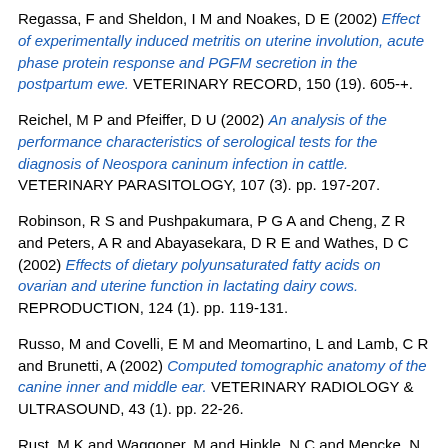Regassa, F and Sheldon, I M and Noakes, D E (2002) Effect of experimentally induced metritis on uterine involution, acute phase protein response and PGFM secretion in the postpartum ewe. VETERINARY RECORD, 150 (19). 605-+.
Reichel, M P and Pfeiffer, D U (2002) An analysis of the performance characteristics of serological tests for the diagnosis of Neospora caninum infection in cattle. VETERINARY PARASITOLOGY, 107 (3). pp. 197-207.
Robinson, R S and Pushpakumara, P G A and Cheng, Z R and Peters, A R and Abayasekara, D R E and Wathes, D C (2002) Effects of dietary polyunsaturated fatty acids on ovarian and uterine function in lactating dairy cows. REPRODUCTION, 124 (1). pp. 119-131.
Russo, M and Covelli, E M and Meomartino, L and Lamb, C R and Brunetti, A (2002) Computed tomographic anatomy of the canine inner and middle ear. VETERINARY RADIOLOGY & ULTRASOUND, 43 (1). pp. 22-26.
Rust, M K and Waggoner, M and Hinkle, N C and Mencke, N and Hansen, O and Vaughn, M and Dryden, M W and Payne, P and Blagburn, B L and Jacobs, D E and Bach, T and Bledsoe, D and Hoskins, T and Mehlhorn, H and Denholm, I (2002)